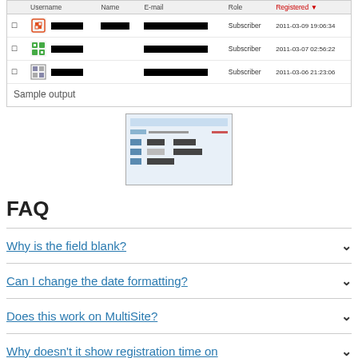|  | Username | Name | E-mail | Role | Registered |
| --- | --- | --- | --- | --- | --- |
| ☐ | [redacted] | [redacted] | [redacted] | Subscriber | 2011-03-09 19:06:34 |
| ☐ | [redacted] |  | [redacted] | Subscriber | 2011-03-07 02:56:22 |
| ☐ | [redacted] |  | [redacted] | Subscriber | 2011-03-06 21:23:06 |
Sample output
[Figure (screenshot): Thumbnail screenshot of a table/list interface]
FAQ
Why is the field blank?
Can I change the date formatting?
Does this work on MultiSite?
Why doesn't it show registration time on